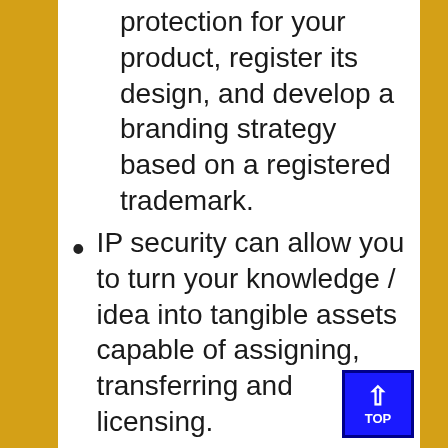protection for your product, register its design, and develop a branding strategy based on a registered trademark.
IP security can allow you to turn your knowledge / idea into tangible assets capable of assigning, transferring and licensing.
Your secure IP can be used as a collateral to raise money, as a way to attract investors.
Protecting your IP can reduce the risks associated with...